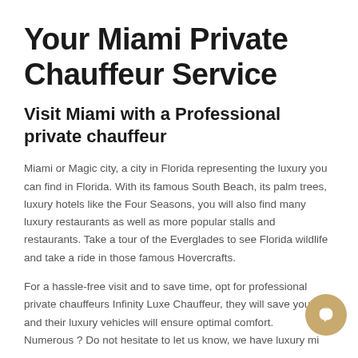Your Miami Private Chauffeur Service
Visit Miami with a Professional private chauffeur
Miami or Magic city, a city in Florida representing the luxury you can find in Florida. With its famous South Beach, its palm trees, luxury hotels like the Four Seasons, you will also find many luxury restaurants as well as more popular stalls and restaurants. Take a tour of the Everglades to see Florida wildlife and take a ride in those famous Hovercrafts.
For a hassle-free visit and to save time, opt for professional private chauffeurs Infinity Luxe Chauffeur, they will save you time and their luxury vehicles will ensure optimal comfort. Numerous ? Do not hesitate to let us know, we have luxury mi... Van as well as coach for large groups. Need advice, help for...